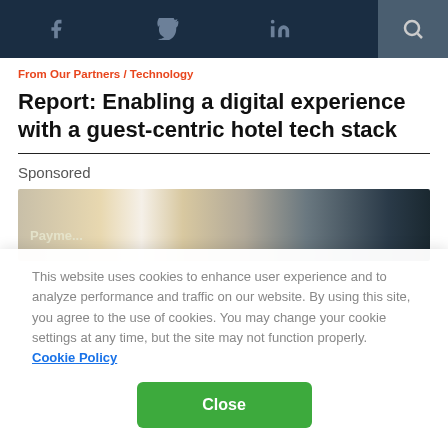Navigation bar with social icons: Facebook, Twitter, LinkedIn, Email, Search
From Our Partners / Technology
Report: Enabling a digital experience with a guest-centric hotel tech stack
Sponsored
[Figure (photo): Partial photo showing a hotel/payment technology scene with text 'Payme...' visible]
This website uses cookies to enhance user experience and to analyze performance and traffic on our website. By using this site, you agree to the use of cookies. You may change your cookie settings at any time, but the site may not function properly.  Cookie Policy
Close